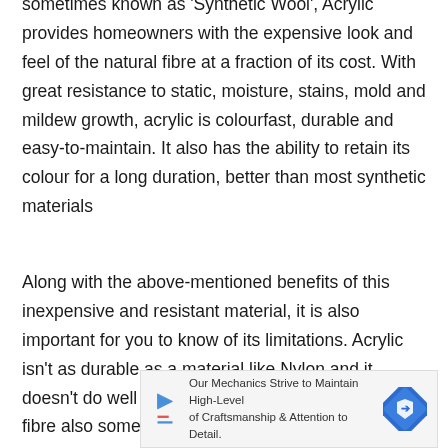sometimes known as 'Synthetic Wool', Acrylic provides homeowners with the expensive look and feel of the natural fibre at a fraction of its cost. With great resistance to static, moisture, stains, mold and mildew growth, acrylic is colourfast, durable and easy-to-maintain. It also has the ability to retain its colour for a long duration, better than most synthetic materials
Along with the above-mentioned benefits of this inexpensive and resistant material, it is also important for you to know of its limitations. Acrylic isn't as durable as a material like Nylon and it doesn't do well in high-traffic parts of the house. The fibre also sometimes reacts to some alkaline-based chemicals and turns brown when
[Figure (other): Advertisement banner: 'Our Mechanics Strive to Maintain High-Level of Craftsmanship & Attention to Detail.' with a play button icon on the left and a blue diamond road sign icon on the right.]